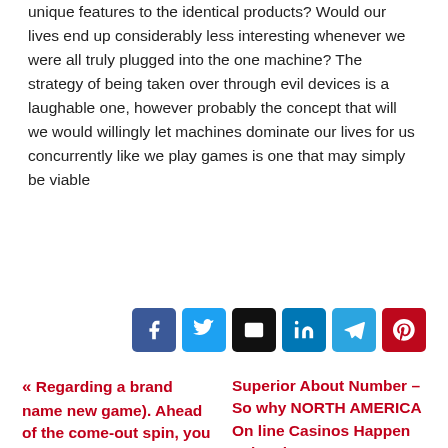unique features to the identical products? Would our lives end up considerably less interesting whenever we were all truly plugged into the one machine? The strategy of being taken over through evil devices is a laughable one, however probably the concept that will we would willingly let machines dominate our lives for us concurrently like we play games is one that may simply be viable
[Figure (other): Social share buttons: Facebook, Twitter, Email, LinkedIn, Telegram, Pinterest]
« Regarding a brand name new game). Ahead of the come-out spin, you need to decide
Superior About Number – So why NORTH AMERICA On line Casinos Happen to be First-